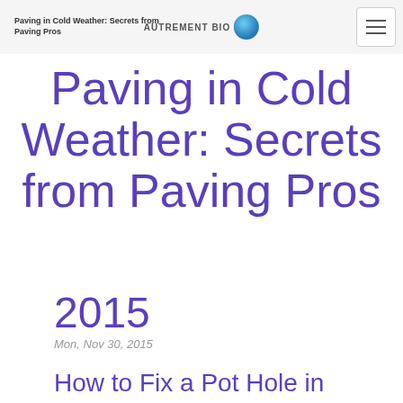Paving in Cold Weather: Secrets from Paving Pros | AUTREMENT BIO
Paving in Cold Weather: Secrets from Paving Pros
2015
Mon, Nov 30, 2015
How to Fix a Pot Hole in